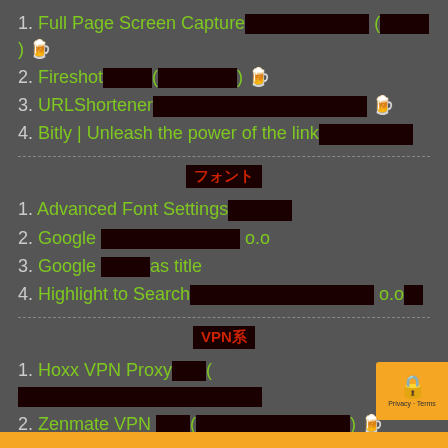1. Full Page Screen Capture　　　　　　　　　 (　　　) 🍺
2. Fireshot　　　(　　　　　　) 🍺
3. URLShortener　　　　　　　　　　　　　　　　 🍺
4. Bitly | Unleash the power of the link
フォント
1. Advanced Font Settings
2. Google 　　　　　　　　　 o.o
3. Google 　　　as title
4. Highlight to Search　　　　　　　　　　　　 o.o
VPN系
1. Hoxx VPN Proxy　　(
2. Zenmate VPN 　　(　　　　　　　　　　) 🍺
3. TunnelBear VPN　　(